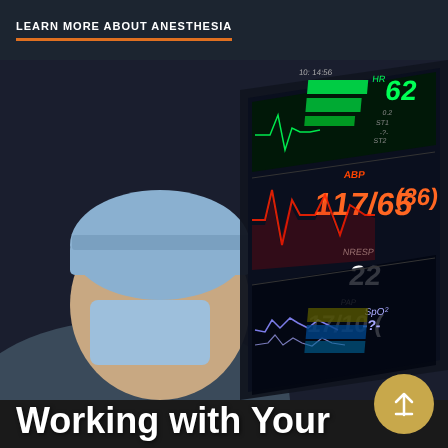LEARN MORE ABOUT ANESTHESIA
[Figure (photo): A medical professional wearing a surgical cap and mask looking at a patient monitor displaying vital signs including heart rate 62, blood pressure 117/65 (86), respiratory rate 22, SpO2 readings, and various waveforms on a dark screen with green, red, and blue displays]
Working with Your